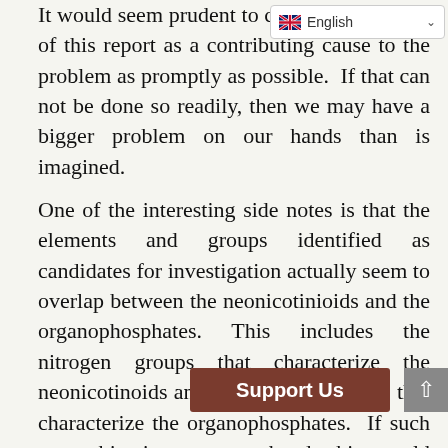It would seem prudent to change those findings of this report as a contributing cause to the problem as promptly as possible. If that can not be done so readily, then we may have a bigger problem on our hands than is imagined.
One of the interesting side notes is that the elements and groups identified as candidates for investigation actually seem to overlap between the neonicotinioids and the organophosphates. This includes the nitrogen groups that characterize the neonicotinoids and the phosphate esters that characterize the organophosphates. If such a combination were at hand, this would seem especially troublesome as both forms r... controversy, let ...